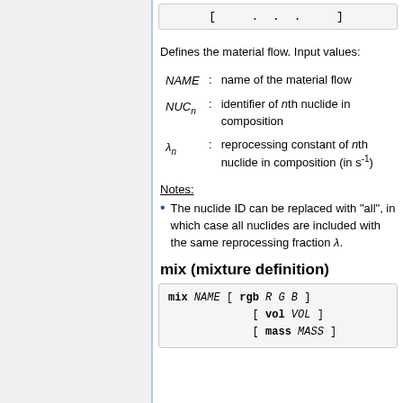[Figure (other): Code box showing continuation dots: [ ... ]]
Defines the material flow. Input values:
NAME : name of the material flow
NUCn : identifier of nth nuclide in composition
λn : reprocessing constant of nth nuclide in composition (in s⁻¹)
Notes:
The nuclide ID can be replaced with "all", in which case all nuclides are included with the same reprocessing fraction λ.
mix (mixture definition)
[Figure (other): Code box: mix NAME [ rgb R G B ] [ vol VOL ] [ mass MASS ]]